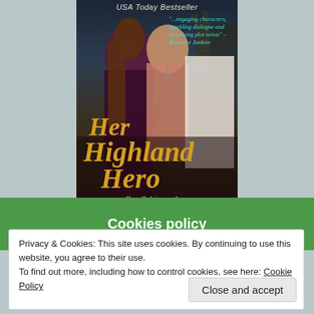[Figure (illustration): Book cover for 'Her Highland Hero' showing a romantic couple embracing. A shirtless man with a necklace and a woman in dark clothing. Text includes 'USA Today Bestseller', a quote from Romance Junkies: '...engaging characters, sparkling dialogue and surprising plot twists', the title 'Her Highland Hero' in gold italic lettering, and tagline 'She will claim no other...']
Cookies policy
Privacy & Cookies: This site uses cookies. By continuing to use this website, you agree to their use.
To find out more, including how to control cookies, see here: Cookie Policy
Close and accept